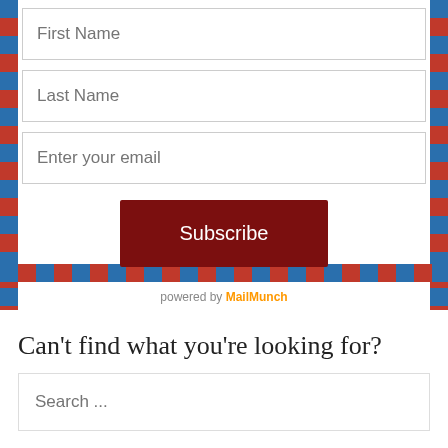[Figure (screenshot): Email subscription form widget with airmail-style diagonal stripe border (red and blue alternating dashes) on left, right, and bottom edges. Contains three input fields (First Name, Last Name, Enter your email) and a dark red Subscribe button.]
powered by MailMunch
Can't find what you're looking for?
Search ...